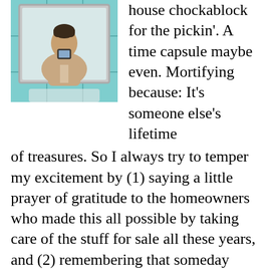[Figure (photo): A person taking a selfie in a bathroom mirror, wearing a beige top, with teal/turquoise tiles visible in the background.]
house chockablock for the pickin'. A time capsule maybe even. Mortifying because: It's someone else's lifetime of treasures. So I always try to temper my excitement by (1) saying a little prayer of gratitude to the homeowners who made this all possible by taking care of the stuff for sale all these years, and (2) remembering that someday soon enough, a new generation of eager shoppers will be thrashing through my stuff, too, so I'd better approach the whole shopping experience with that karma in mind. With those reality-checks in place, here is my
personal method for working an estate sale: